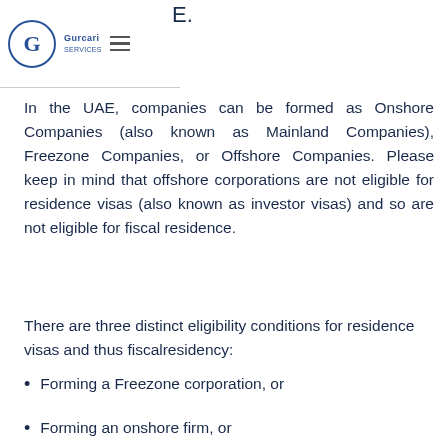E. [Gurcari logo with hamburger menu]
In the UAE, companies can be formed as Onshore Companies (also known as Mainland Companies), Freezone Companies, or Offshore Companies. Please keep in mind that offshore corporations are not eligible for residence visas (also known as investor visas) and so are not eligible for fiscal residence.
There are three distinct eligibility conditions for residence visas and thus fiscalresidency:
Forming a Freezone corporation, or
Forming an onshore firm, or